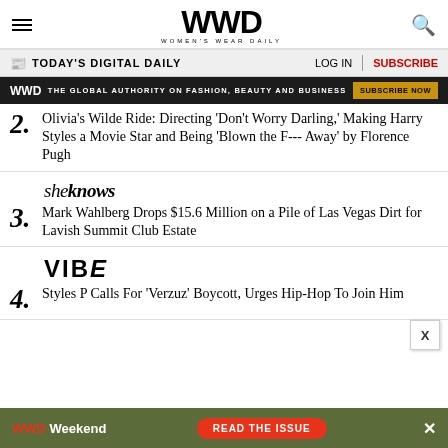WWD WOMEN'S WEAR DAILY
TODAY'S DIGITAL DAILY | LOG IN | SUBSCRIBE
WWD THE GLOBAL AUTHORITY ON FASHION, BEAUTY AND BUSINESS SUBSCRIBE NOW
2. Olivia's Wilde Ride: Directing 'Don't Worry Darling,' Making Harry Styles a Movie Star and Being 'Blown the F--- Away' by Florence Pugh
[Figure (logo): SheKnows logo in italic serif font]
3. Mark Wahlberg Drops $15.6 Million on a Pile of Las Vegas Dirt for Lavish Summit Club Estate
[Figure (logo): VIBE logo in bold uppercase sans-serif font]
4. Styles P Calls For 'Verzuz' Boycott, Urges Hip-Hop To Join Him
[Figure (infographic): WWD Weekend advertisement banner at bottom: READ THE ISSUE]